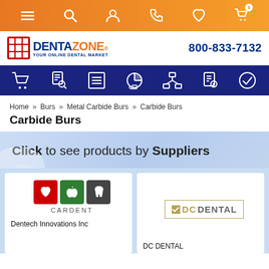DentaZone navigation top bar with icons
[Figure (logo): DentaZone logo with tagline YOUR ONLINE DENTAL MARKET and phone number 800-833-7132]
Blue navigation bar with icons
Home » Burs » Metal Carbide Burs » Carbide Burs
Carbide Burs
Click to see products by Suppliers
[Figure (logo): CARDENT logo - three colored boxes with heart, apple, tooth icons and text CARDENT below. Supplier: Dentech Innovations Inc]
[Figure (logo): DC DENTAL logo in gold/tan border. Supplier: DC DENTAL]